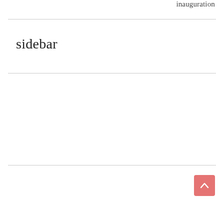inauguration
sidebar
[Figure (other): Back to top button: a salmon/coral colored square button with an upward-pointing chevron/caret arrow in white]